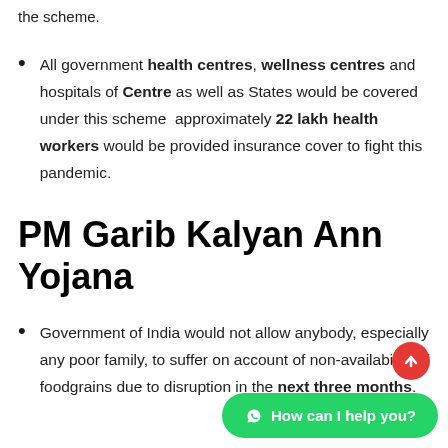the scheme.
All government health centres, wellness centres and hospitals of Centre as well as States would be covered under this scheme approximately 22 lakh health workers would be provided insurance cover to fight this pandemic.
PM Garib Kalyan Ann Yojana
Government of India would not allow anybody, especially any poor family, to suffer on account of non-availability of foodgrains due to disruption in the next three months.